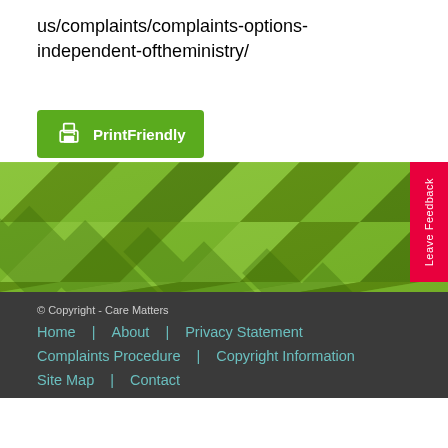us/complaints/complaints-options-independent-oftheministry/
[Figure (screenshot): Green PrintFriendly button with printer icon]
[Figure (photo): Woven green mat/basket texture background photo]
© Copyright - Care Matters
Home | About | Privacy Statement | Complaints Procedure | Copyright Information | Site Map | Contact